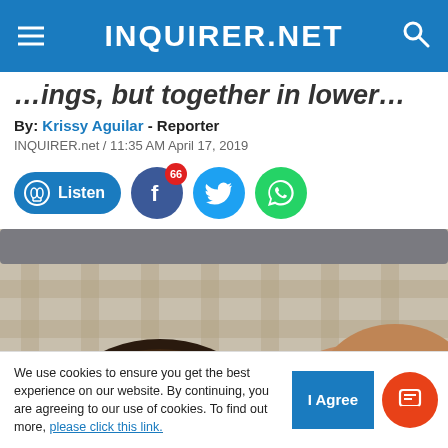INQUIRER.NET
…ings, but together in lower…
By: Krissy Aguilar - Reporter
INQUIRER.net / 11:35 AM April 17, 2019
[Figure (infographic): Listen button, Facebook share button with 66 badge, Twitter share button, WhatsApp share button]
[Figure (photo): Two people lying side by side on a plaid/checkered pillow, top-down view showing their heads]
We use cookies to ensure you get the best experience on our website. By continuing, you are agreeing to our use of cookies. To find out more, please click this link.